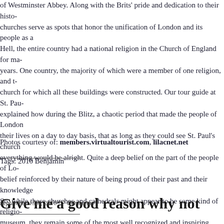of Westminster Abbey.  Along with the Brits' pride and dedication to their history, churches serve as spots that honor the unification of London and its people as a whole. Hell, the entire country had a national religion in the Church of England for many years.  One country, the majority of which were a member of one religion, and the church for which all these buildings were constructed.  Our tour guide at St. Paul's explained how during the Blitz, a chaotic period that made the people of London fear their lives on a day to day basis, that as long as they could see St. Paul's church everything would be alright.  Quite a deep belief on the part of the people of London, belief reinforced by their nature of being proud of their past and their knowledge. So, while these churches and cathedrals might appear to be some kind of religious museum, they remain some of the most well recognized and inspiring aspects of
Photos courtesy of: members.virtualtourist.com, lilacnet.net
Tags:  2010 Benjamin
Give me a good reason why not
September 15th, 2010 · 7 Comments